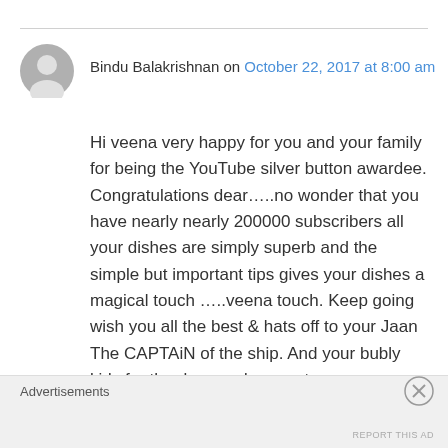[Figure (illustration): Gray user avatar icon (circle with silhouette)]
Bindu Balakrishnan on October 22, 2017 at 8:00 am
Hi veena very happy for you and your family for being the YouTube silver button awardee. Congratulations dear…..no wonder that you have nearly nearly 200000 subscribers all your dishes are simply superb and the simple but important tips gives your dishes a magical touch …..veena touch. Keep going wish you all the best & hats off to your Jaan The CAPTAiN of the ship. And your bubly kids for ther love and support.
Regards
Advertisements